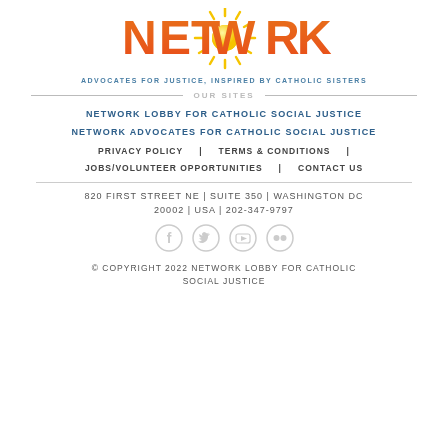[Figure (logo): NETWORK logo with sun graphic and text 'ADVOCATES FOR JUSTICE, INSPIRED BY CATHOLIC SISTERS']
OUR SITES
NETWORK LOBBY FOR CATHOLIC SOCIAL JUSTICE
NETWORK ADVOCATES FOR CATHOLIC SOCIAL JUSTICE
PRIVACY POLICY | TERMS & CONDITIONS
JOBS/VOLUNTEER OPPORTUNITIES | CONTACT US
820 FIRST STREET NE | SUITE 350 | WASHINGTON DC 20002 | USA | 202-347-9797
[Figure (illustration): Social media icons: Facebook, Twitter, YouTube, Flickr]
© COPYRIGHT 2022 NETWORK LOBBY FOR CATHOLIC SOCIAL JUSTICE